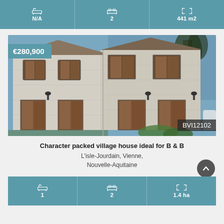[Figure (infographic): Top stats bar with bath icon N/A, bed icon 2, area icon 441 m2 on teal background]
[Figure (photo): Exterior photo of a white stone village house with brown wooden shutters and doors, blue sky, trees. Price badge €280,900 top-left. Reference BVI12102 bottom-right.]
Character packed village house ideal for B & B
L'isle-Jourdain, Vienne, Nouvelle-Aquitaine
[Figure (infographic): Bottom stats bar with bath icon 1, bed icon 2, area icon 1.4 ha on teal background]